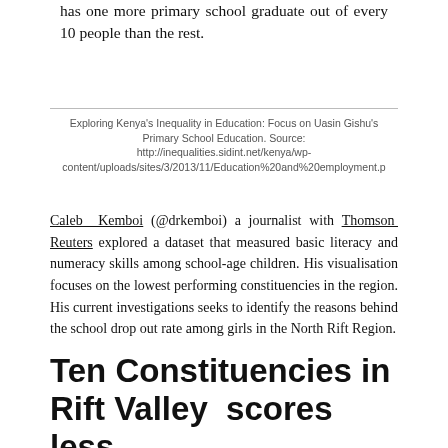has one more primary school graduate out of every 10 people than the rest.
Exploring Kenya's Inequality in Education: Focus on Uasin Gishu's Primary School Education. Source: http://inequalities.sidint.net/kenya/wp-content/uploads/sites/3/2013/11/Education%20and%20employment.p
Caleb Kemboi (@drkemboi) a journalist with Thomson Reuters explored a dataset that measured basic literacy and numeracy skills among school-age children. His visualisation focuses on the lowest performing constituencies in the region. His current investigations seeks to identify the reasons behind the school drop out rate among girls in the North Rift Region.
Ten Constituencies in Rift Valley  scores less than 50% in